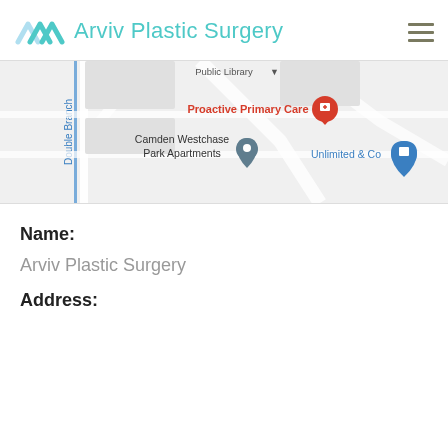Arviv Plastic Surgery
[Figure (map): Google Maps screenshot showing area with Public Library, Proactive Primary Care, Camden Westchase Park Apartments, Unlimited & Co, and Double Branch road.]
Name:
Arviv Plastic Surgery
Address: